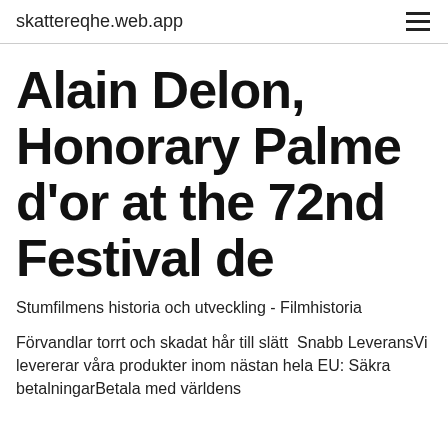skattereqhe.web.app
Alain Delon, Honorary Palme d'or at the 72nd Festival de
Stumfilmens historia och utveckling - Filmhistoria
Förvandlar torrt och skadat hår till slätt  Snabb LeveransVi levererar våra produkter inom nästan hela EU: Säkra betalningarBetala med världens